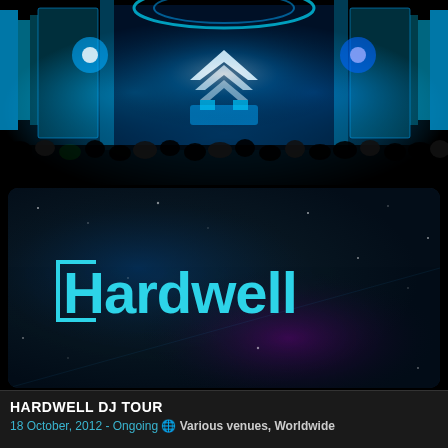[Figure (photo): Concert stage photo with blue and teal LED lighting, large crowd in foreground, DJ booth visible center stage, elaborate stage truss and screen structures on either side]
[Figure (photo): Hardwell DJ promotional card with dark blue space-like background showing the Hardwell logo in teal/cyan angular font]
HARDWELL DJ TOUR
18 October, 2012 - Ongoing 🌐 Various venues, Worldwide